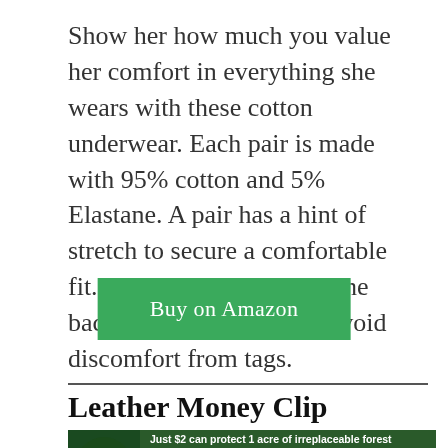Show her how much you value her comfort in everything she wears with these cotton underwear. Each pair is made with 95% cotton and 5% Elastane. A pair has a hint of stretch to secure a comfortable fit. The label is printed at the back of the waistband to avoid discomfort from tags.
Buy on Amazon
Leather Money Clip
[Figure (other): Advertisement banner for Amazon forest protection: 'Just $2 can protect 1 acre of irreplaceable forest homes in the Amazon. How many acres are you willing to protect?' with a green 'Protect Forests Now' button.]